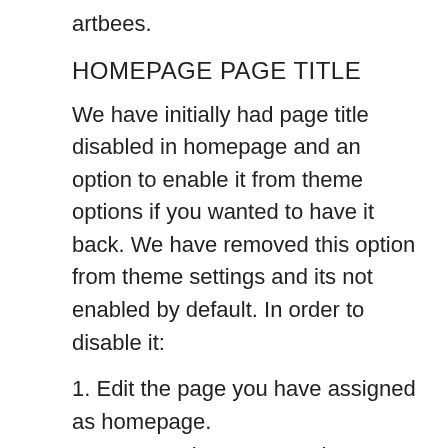artbees.
HOMEPAGE PAGE TITLE
We have initially had page title disabled in homepage and an option to enable it from theme options if you wanted to have it back. We have removed this option from theme settings and its not enabled by default. In order to disable it:
1. Edit the page you have assigned as homepage.
2. Go to Jupiter Page Options > Manage Page Elements
3. Choose “Remove Page Title” and save the page.
TYPOGRAPHY OPTIONS